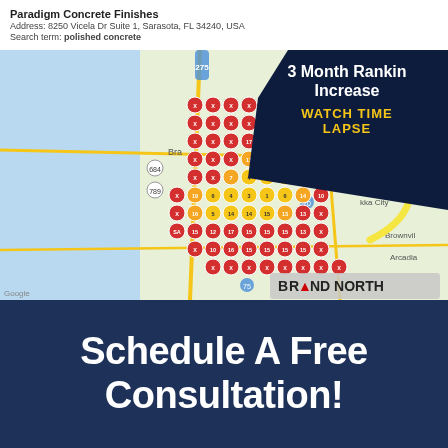Paradigm Concrete Finishes
Address: 8250 Vicela Dr Suite 1, Sarasota, FL 34240, USA
Search term: polished concrete
[Figure (map): Google Maps view of Sarasota FL area showing a grid of red circular ranking markers overlaid on the map, with numbers inside. A yellow curved arrow points to the grid from the upper right. A dark navy blob overlay in the top right reads '3 Month Ranking Increase WATCH TIME LAPSE'. Brand North watermark at bottom right.]
Schedule A Free Consultation!